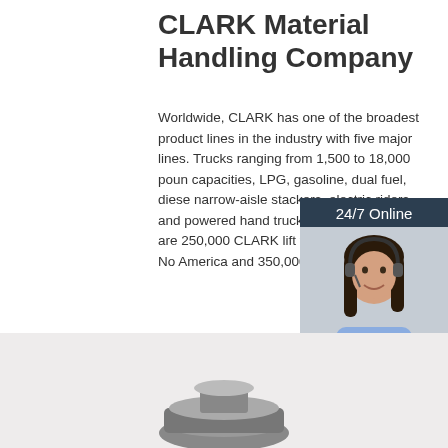CLARK Material Handling Company
Worldwide, CLARK has one of the broadest product lines in the industry with five major lines. Trucks ranging from 1,500 to 18,000 pound capacities, LPG, gasoline, dual fuel, diesel narrow-aisle stackers, electric riders and powered hand trucks. Presently, there are 250,000 CLARK lift trucks operating in No America and 350,000 units ...
[Figure (photo): Advertisement panel with a woman wearing a headset, labeled '24/7 Online' and a 'Click here for free chat!' button with QUOTATION button below.]
[Figure (photo): Bottom portion of a product photo showing mechanical equipment on a gray background.]